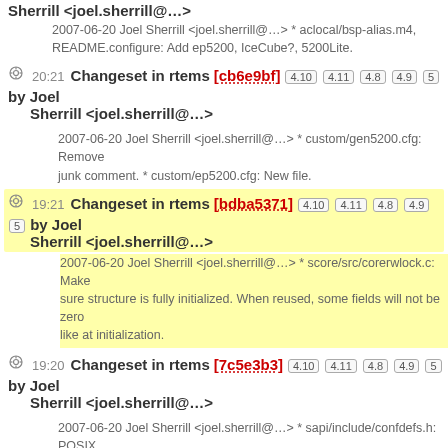Sherrill <joel.sherrill@…>
2007-06-20 Joel Sherrill <joel.sherrill@…> * aclocal/bsp-alias.m4, README.configure: Add ep5200, IceCube?, 5200Lite.
20:21 Changeset in rtems [cb6e9bf] 4.10 4.11 4.8 4.9 5 by Joel Sherrill <joel.sherrill@…>
2007-06-20 Joel Sherrill <joel.sherrill@…> * custom/gen5200.cfg: Remove junk comment. * custom/ep5200.cfg: New file.
19:21 Changeset in rtems [bdba5371] 4.10 4.11 4.8 4.9 5 by Joel Sherrill <joel.sherrill@…>
2007-06-20 Joel Sherrill <joel.sherrill@…> * score/src/corerwlock.c: Make sure structure is fully initialized. When reused, some fields will not be zero like at initialization.
19:20 Changeset in rtems [7c5e3b3] 4.10 4.11 4.8 4.9 5 by Joel Sherrill <joel.sherrill@…>
2007-06-20 Joel Sherrill <joel.sherrill@…> * sapi/include/confdefs.h: POSIX threads use twice the minimum stack size. Account for this.
06/19/07:
21:07 TBR/BSP/Gen5200 edited by JoelSherrill
Add ep5200 starting point (diff)
21:04 TBR/BSP/Mvme2100 edited by JoelSherrill
Reverted edits by JoelSherrill? (Talk?); changed back to last version by Eden? (diff)